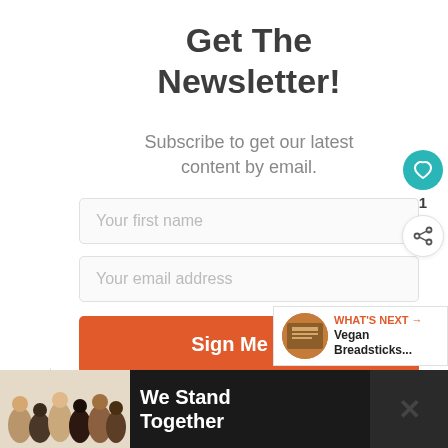Get The Newsletter!
Subscribe to get our latest content by email.
[Figure (screenshot): Newsletter signup form with first name input, email address input, and orange Sign Me Up! button]
[Figure (infographic): Footer banner showing 'We Stand Together' text with group of people image]
WHAT'S NEXT → Vegan Breadsticks...